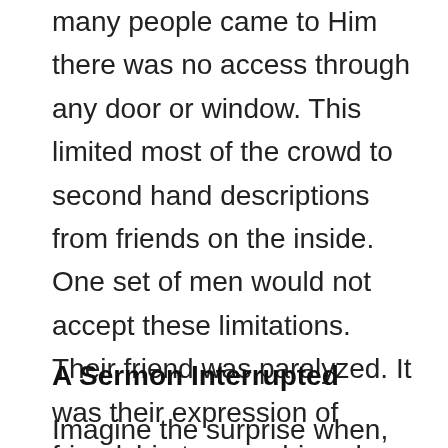many people came to Him there was no access through any door or window. This limited most of the crowd to second hand descriptions from friends on the inside. One set of men would not accept these limitations. Their friend was paralyzed. It was their expression of friendship to carry him where he needed to go. These friends were strong and resourceful. They found the tools needed to dismantle the roof. They had ropes tied to a pallet to let their disabled friend down through the hole in the roof.
A Sermon Interrupted
Imagine the surprise when, as Jesus was